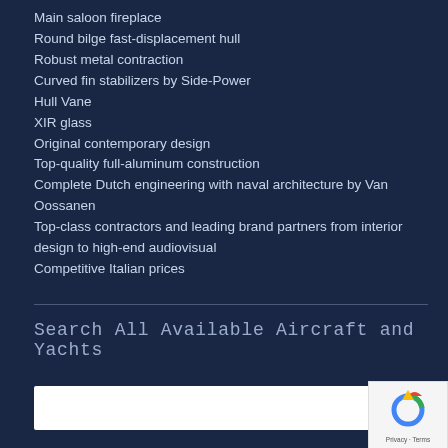Main saloon fireplace
Round bilge fast-displacement hull
Robust metal contraction
Curved fin stabilizers by Side-Power
Hull Vane
XIR glass
Original contemporary design
Top-quality full-aluminum construction
Complete Dutch engineering with naval architecture by Van Oossanen
Top-class contractors and leading brand partners from interior design to high-end audiovisual
Competitive Italian prices
Search All Available Aircraft and Yachts
Search